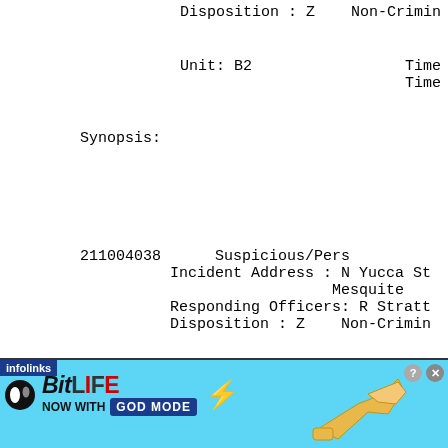Disposition : Z    Non-Crimin
Unit: B2                    Time Repo
                            Time Arri
Synopsis:
211004038      Suspicious/Pers
          Incident Address : N Yucca St
                            Mesquite
          Responding Officers: R Stratt
          Disposition : Z    Non-Crimin
[Figure (screenshot): Advertisement banner for BitLife mobile game: 'NOW WITH GOD MODE' with infolinks label, close and help buttons.]